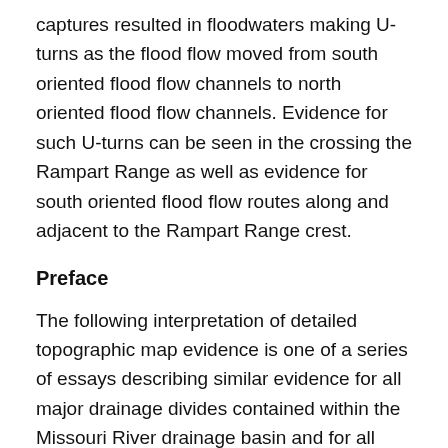captures resulted in floodwaters making U-turns as the flood flow moved from south oriented flood flow channels to north oriented flood flow channels. Evidence for such U-turns can be seen in the crossing the Rampart Range as well as evidence for south oriented flood flow routes along and adjacent to the Rampart Range crest.
Preface
The following interpretation of detailed topographic map evidence is one of a series of essays describing similar evidence for all major drainage divides contained within the Missouri River drainage basin and for all major drainage divides with adjacent drainage basins. The research project is interpreting evidence in the context of a previously unexplored deep glacial erosion paradigm, which is fundamentally different from most commonly